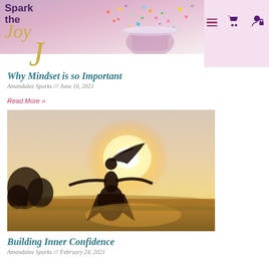Spark the Joy
Why Mindset is so Important
Amandalee Sparks /// June 16, 2021
Read More »
[Figure (photo): Woman with long hair spinning outdoors in a golden sunset field, arms outstretched, silhouetted against bright sunlight with warm amber tones]
Building Inner Confidence
Amandalee Sparks /// February 24, 2021